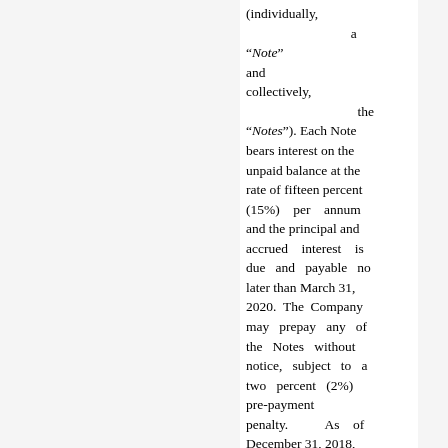(individually, a "Note" and collectively, the "Notes"). Each Note bears interest on the unpaid balance at the rate of fifteen percent (15%) per annum and the principal and accrued interest is due and payable no later than March 31, 2020. The Company may prepay any of the Notes without notice, subject to a two percent (2%) pre-payment penalty. As of December 31, 2018, the Note investments of $1,080,000 have been received from certain investors, officers and directors of the Company. The Note offer was conducted by our